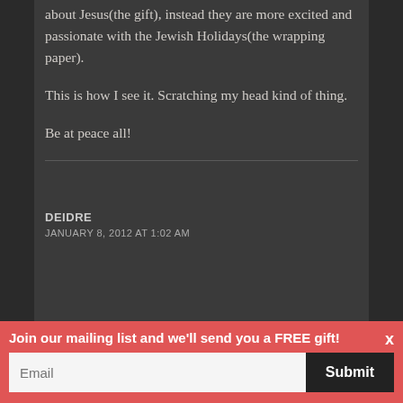about Jesus(the gift), instead they are more excited and passionate with the Jewish Holidays(the wrapping paper).
This is how I see it. Scratching my head kind of thing.
Be at peace all!
DEIDRE
JANUARY 8, 2012 AT 1:02 AM
Join our mailing list and we'll send you a FREE gift!